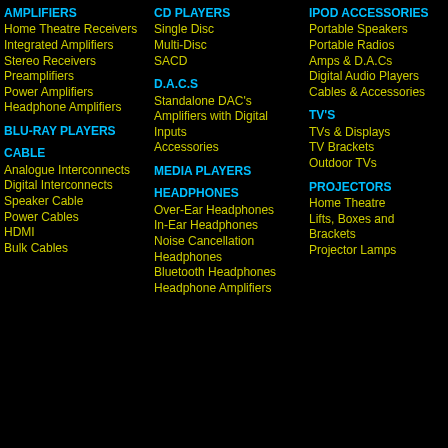AMPLIFIERS
Home Theatre Receivers
Integrated Amplifiers
Stereo Receivers
Preamplifiers
Power Amplifiers
Headphone Amplifiers
BLU-RAY PLAYERS
CABLE
Analogue Interconnects
Digital Interconnects
Speaker Cable
Power Cables
HDMI
Bulk Cables
CD PLAYERS
Single Disc
Multi-Disc
SACD
D.A.C.S
Standalone DAC's
Amplifiers with Digital Inputs
Accessories
MEDIA PLAYERS
HEADPHONES
Over-Ear Headphones
In-Ear Headphones
Noise Cancellation Headphones
Bluetooth Headphones
Headphone Amplifiers
IPOD ACCESSORIES
Portable Speakers
Portable Radios
Amps & D.A.Cs
Digital Audio Players
Cables & Accessories
TV'S
TVs & Displays
TV Brackets
Outdoor TVs
PROJECTORS
Home Theatre
Lifts, Boxes and Brackets
Projector Lamps